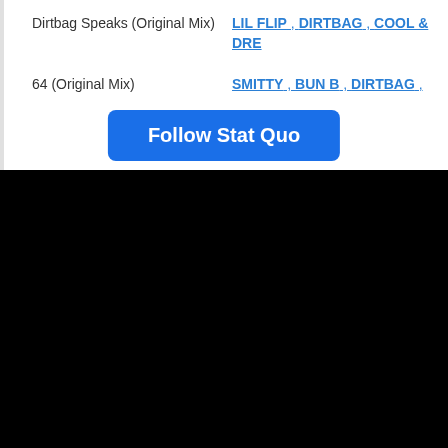Dirtbag Speaks (Original Mix) — LIL FLIP , DIRTBAG , COOL & DRE
64 (Original Mix) — SMITTY , BUN B , DIRTBAG , ...
Follow Stat Quo